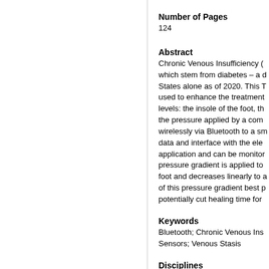Number of Pages
124
Abstract
Chronic Venous Insufficiency (which stem from diabetes – a States alone as of 2020. This T used to enhance the treatment levels: the insole of the foot, th the pressure applied by a comp wirelessly via Bluetooth to a sm data and interface with the ele application and can be monitor pressure gradient is applied to foot and decreases linearly to a of this pressure gradient best p potentially cut healing time for
Keywords
Bluetooth; Chronic Venous Ins Sensors; Venous Stasis
Disciplines
Computer Engineering | Electri Medicine and Health Science